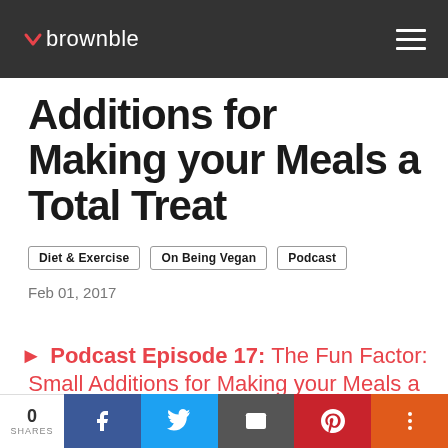brownble
Additions for Making your Meals a Total Treat
Diet & Exercise
On Being Vegan
Podcast
Feb 01, 2017
Podcast Episode 17: The Fun Factor: Small Additions for Making your Meals a Total Treat